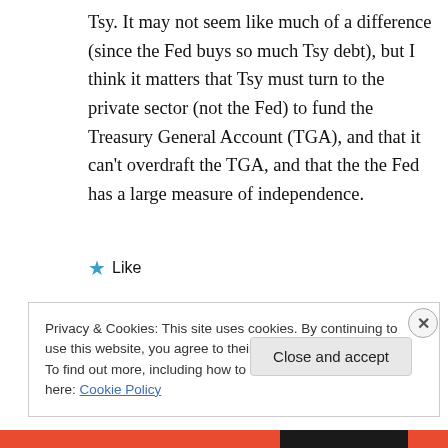Tsy. It may not seem like much of a difference (since the Fed buys so much Tsy debt), but I think it matters that Tsy must turn to the private sector (not the Fed) to fund the Treasury General Account (TGA), and that it can't overdraft the TGA, and that the the Fed has a large measure of independence.
★ Like
Privacy & Cookies: This site uses cookies. By continuing to use this website, you agree to their use.
To find out more, including how to control cookies, see here: Cookie Policy
Close and accept